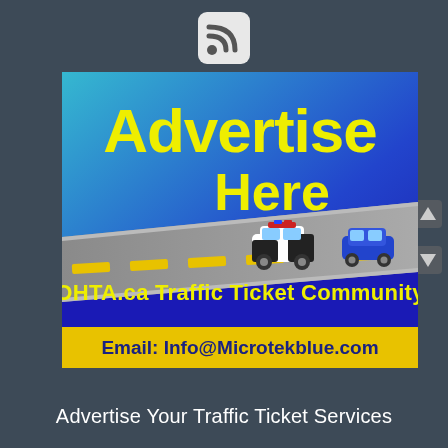[Figure (logo): RSS feed icon in a rounded white square on dark background]
[Figure (illustration): Advertisement banner for OHTA.ca Traffic Ticket Community. Blue gradient background with large yellow text 'Advertise Here', a road illustration with a police car chasing a blue car, yellow text 'OHTA.ca Traffic Ticket Community', and a yellow banner with dark blue text 'Email: Info@Microtekblue.com']
Advertise Your Traffic Ticket Services